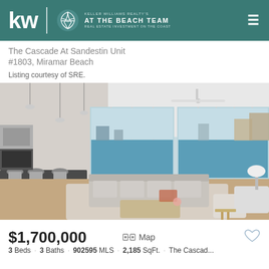KW | AT THE BEACH TEAM — Keller Williams Realty's Real Estate Investment on the Coast
The Cascade At Sandestin Unit #1803, Miramar Beach
Listing courtesy of SRE.
[Figure (photo): Interior photo of a luxury condo living area with open floor plan, modern kitchen island with bar stools, large sectional sofa, floor-to-ceiling glass sliding doors with ocean and coastal town views, ceiling fan, and pendant lights.]
$1,700,000
3 Beds · 3 Baths · 902595 MLS · 2,185 SqFt. · The Cascad...